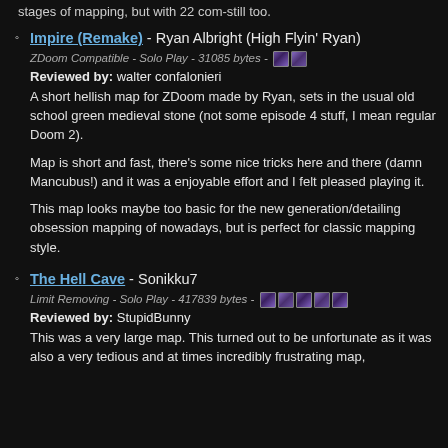stages of mapping, but with 22 com-still too.
Impire (Remake) - Ryan Albright (High Flyin' Ryan)
ZDoom Compatible - Solo Play - 31085 bytes -
Reviewed by: walter confalonieri
A short hellish map for ZDoom made by Ryan, sets in the usual old school green medieval stone (not some episode 4 stuff, I mean regular Doom 2).

Map is short and fast, there's some nice tricks here and there (damn Mancubus!) and it was a enjoyable effort and I felt pleased playing it.

This map looks maybe too basic for the new generation/detailing obsession mapping of nowadays, but is perfect for classic mapping style.
The Hell Cave - Sonikku7
Limit Removing - Solo Play - 417839 bytes -
Reviewed by: StupidBunny
This was a very large map. This turned out to be unfortunate as it was also a very tedious and at times incredibly frustrating map,